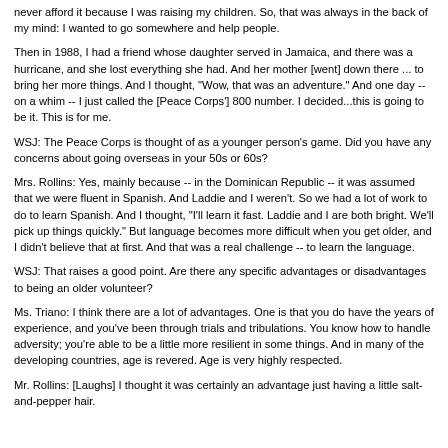never afford it because I was raising my children. So, that was always in the back of my mind: I wanted to go somewhere and help people.
Then in 1988, I had a friend whose daughter served in Jamaica, and there was a hurricane, and she lost everything she had. And her mother [went] down there ... to bring her more things. And I thought, "Wow, that was an adventure." And one day -- on a whim -- I just called the [Peace Corps'] 800 number. I decided...this is going to be it. This is for me.
WSJ: The Peace Corps is thought of as a younger person's game. Did you have any concerns about going overseas in your 50s or 60s?
Mrs. Rollins: Yes, mainly because -- in the Dominican Republic -- it was assumed that we were fluent in Spanish. And Laddie and I weren't. So we had a lot of work to do to learn Spanish. And I thought, "I'll learn it fast. Laddie and I are both bright. We'll pick up things quickly." But language becomes more difficult when you get older, and I didn't believe that at first. And that was a real challenge -- to learn the language.
WSJ: That raises a good point. Are there any specific advantages or disadvantages to being an older volunteer?
Ms. Triano: I think there are a lot of advantages. One is that you do have the years of experience, and you've been through trials and tribulations. You know how to handle adversity; you're able to be a little more resilient in some things. And in many of the developing countries, age is revered. Age is very highly respected.
Mr. Rollins: [Laughs] I thought it was certainly an advantage just having a little salt-and-pepper hair.